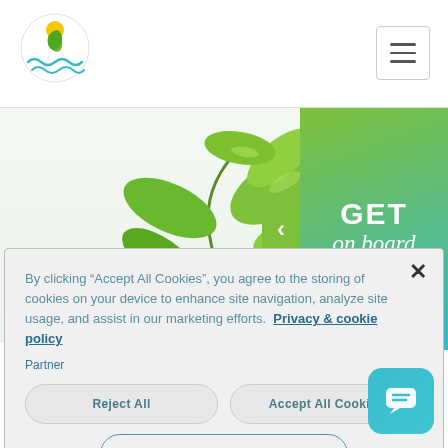[Figure (logo): Green plant/leaf logo with water waves, circular emblem]
[Figure (illustration): Green leaves plant illustration on hero banner with GET on board badge (gradient green to teal) and left-arrow navigation button]
Revenue in EUR
By clicking “Accept All Cookies”, you agree to the storing of cookies on your device to enhance site navigation, analyze site usage, and assist in our marketing efforts. Privacy & cookie policy
Partner
Reject All
Accept All Cookies
Cookies Settings